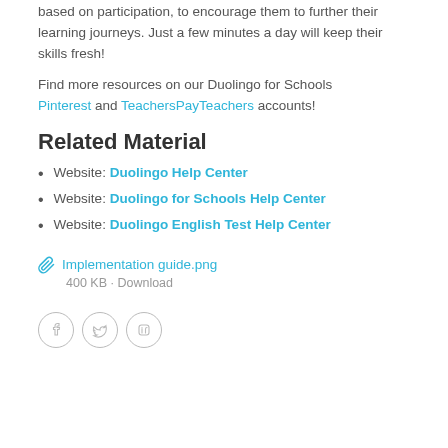based on participation, to encourage them to further their learning journeys. Just a few minutes a day will keep their skills fresh!
Find more resources on our Duolingo for Schools Pinterest and TeachersPayTeachers accounts!
Related Material
Website: Duolingo Help Center
Website: Duolingo for Schools Help Center
Website: Duolingo English Test Help Center
Implementation guide.png
400 KB · Download
[Figure (other): Social media icons: Facebook, Twitter, LinkedIn in circular outlines]